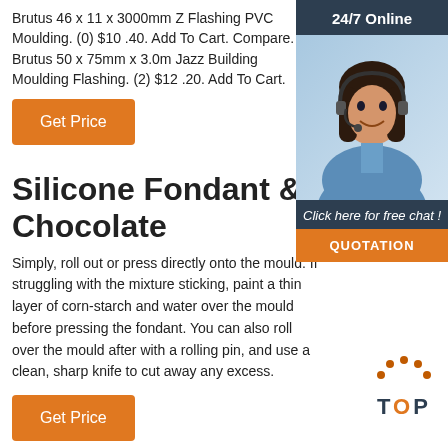Brutus 46 x 11 x 3000mm Z Flashing PVC Moulding. (0) $10 .40. Add To Cart. Compare. Brutus 50 x 75mm x 3.0m Jazz Building Moulding Flashing. (2) $12 .20. Add To Cart.
Get Price
[Figure (photo): Customer service agent photo with 24/7 Online header, Click here for free chat label, and QUOTATION orange button in a dark blue widget panel]
Silicone Fondant & Chocolate
Simply, roll out or press directly onto the mould. If struggling with the mixture sticking, paint a thin layer of corn-starch and water over the mould before pressing the fondant. You can also roll over the mould after with a rolling pin, and use a clean, sharp knife to cut away any excess.
Get Price
[Figure (other): TOP navigation button with orange dotted arc icon above the text TOP]